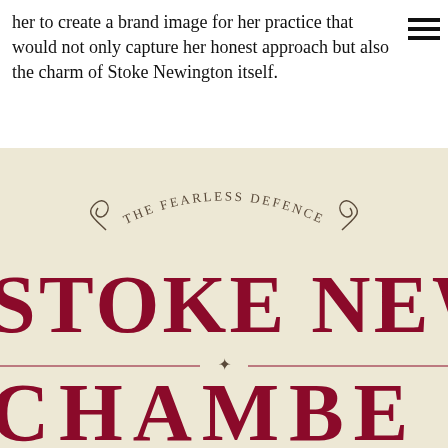her to create a brand image for her practice that would not only capture her honest approach but also the charm of Stoke Newington itself.
[Figure (logo): Logo design for 'The Fearless Defence – Stoke Newington Chambers' on a cream/beige background. Curved text at top reads 'THE FEARLESS DEFENCE' with decorative flourishes. Large bold dark red serif text reads 'STOKE NEWING' on first line and 'CHAMBE' on second line, separated by a horizontal rule with a central diamond ornament.]